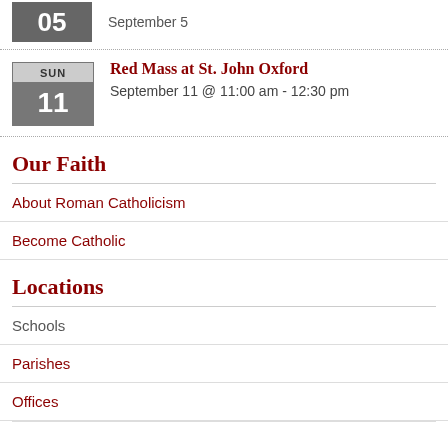03  September 5
Red Mass at St. John Oxford
September 11 @ 11:00 am - 12:30 pm
Our Faith
About Roman Catholicism
Become Catholic
Locations
Schools
Parishes
Offices